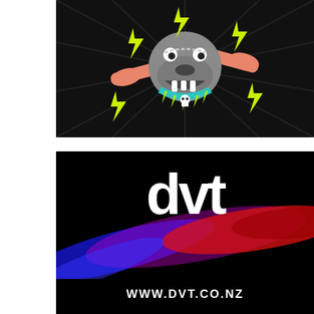[Figure (illustration): Punk cartoon dog biting two bones, wearing a spiked teal collar with skulls, surrounded by neon yellow lightning bolts on a black background with radiating dark lines]
[Figure (logo): DVT logo: large white 'dvt' wordmark on black background with colorful blue, purple and red light streak abstract design in lower half, with URL WWW.DVT.CO.NZ at the bottom]